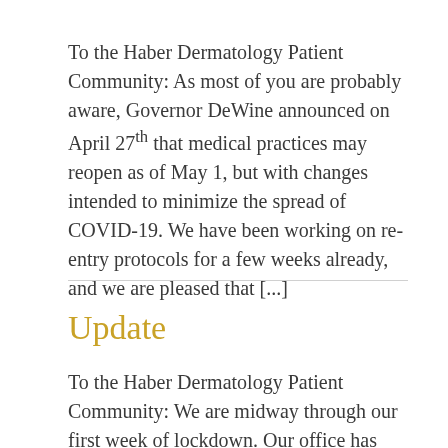To the Haber Dermatology Patient Community: As most of you are probably aware, Governor DeWine announced on April 27th that medical practices may reopen as of May 1, but with changes intended to minimize the spread of COVID-19. We have been working on re-entry protocols for a few weeks already, and we are pleased that [...]
Update
To the Haber Dermatology Patient Community: We are midway through our first week of lockdown. Our office has remained open for urgent visits, and we have conducted a number of teledermatology visits successfully. Our physical office hours are reduced, and